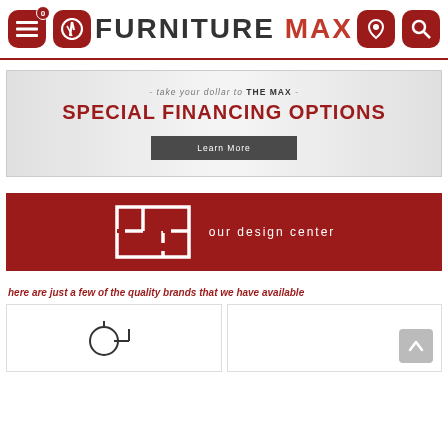FURNITURE MAX
[Figure (screenshot): Furniture Max website screenshot showing header with menu/phone icons, logo, location/search icons, a special financing banner, a design center band, brands section with two brand logo placeholders, and a scroll-to-top button.]
SPECIAL FINANCING OPTIONS
- take your dollar to THE MAX -
Learn More
our design center
here are just a few of the quality brands that we have available